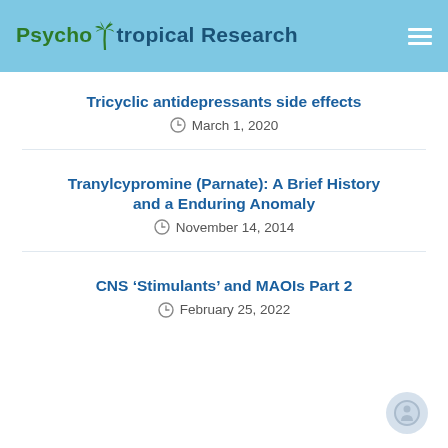PsychoTropical Research
Tricyclic antidepressants side effects
March 1, 2020
Tranylcypromine (Parnate): A Brief History and a Enduring Anomaly
November 14, 2014
CNS ‘Stimulants’ and MAOIs Part 2
February 25, 2022